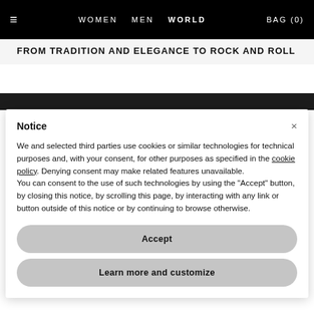WOMEN  MEN  WORLD  BAG (0)
FROM TRADITION AND ELEGANCE TO ROCK AND ROLL
Notice
We and selected third parties use cookies or similar technologies for technical purposes and, with your consent, for other purposes as specified in the cookie policy. Denying consent may make related features unavailable.
You can consent to the use of such technologies by using the "Accept" button, by closing this notice, by scrolling this page, by interacting with any link or button outside of this notice or by continuing to browse otherwise.
Accept
Learn more and customize